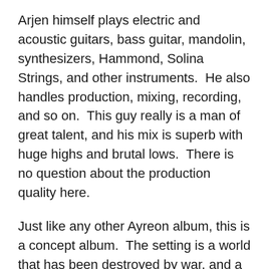Arjen himself plays electric and acoustic guitars, bass guitar, mandolin, synthesizers, Hammond, Solina Strings, and other instruments.  He also handles production, mixing, recording, and so on.  This guy really is a man of great talent, and his mix is superb with huge highs and brutal lows.  There is no question about the production quality here.
Just like any other Ayreon album, this is a concept album.  The setting is a world that has been destroyed by war, and a small group of humans leaves this ruined world to reach a planet that is basically Waterworld.  There is this Source, though, that can help change these poor people so they can live in this brave new world.  It also seems like there are certain people have helped create or at least harness this Source.  I'm not entirely sure about the story, but many of my biggest reservations about this album come